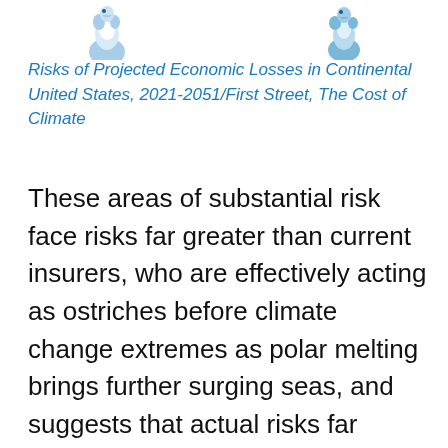[Figure (illustration): Two small decorative bird/animal illustrations at the top of the page, partially cropped]
Risks of Projected Economic Losses in Continental United States, 2021-2051/First Street, The Cost of Climate
These areas of substantial risk face risks far greater than current insurers, who are effectively acting as ostriches before climate change extremes as polar melting brings further surging seas, and suggests that actual risks far outpace the estimated in premiums on coastal and other property insurance–who have deflated the risks they have effectively denied, First Street found, with help from